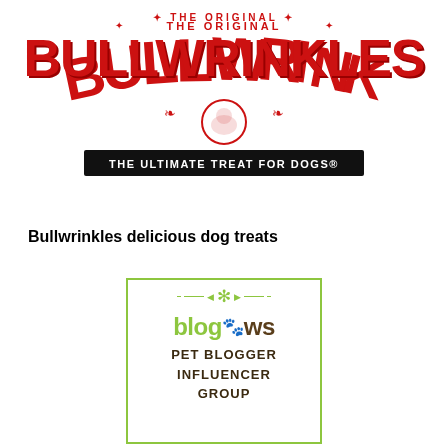[Figure (logo): Bullwrinkles logo: 'THE ORIGINAL' text above large red BULLWRINKLES lettering with a cartoon bulldog in a circle, and 'THE ULTIMATE TREAT FOR DOGS®' on a black bar below]
Bullwrinkles delicious dog treats
[Figure (logo): blogpaws PET BLOGGER INFLUENCER GROUP badge with green border, snowflake decoration at top, 'blogpaws' in green and brown text with paw print, and 'PET BLOGGER INFLUENCER GROUP' in dark brown bold text]